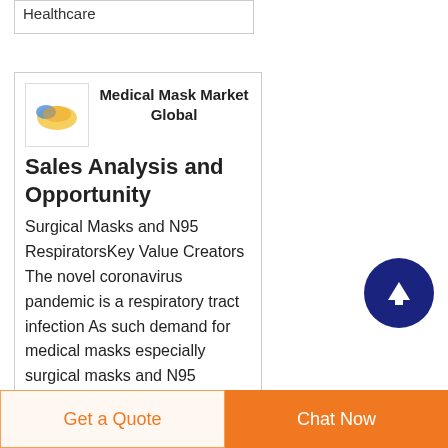Healthcare
Medical Mask Market Global Sales Analysis and Opportunity
Surgical Masks and N95 RespiratorsKey Value Creators The novel coronavirus pandemic is a respiratory tract infection As such demand for medical masks especially surgical masks and N95 respirators has remarkably increased While N95 respirator mask
[Figure (logo): Company logo with yellow and blue graphic]
Get a Quote
Chat Now